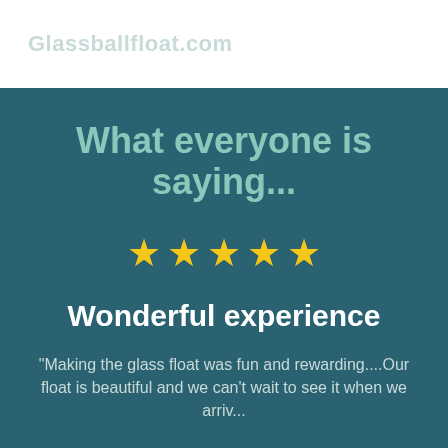Glassballfloat.com
What everyone is saying...
[Figure (infographic): Five gold star rating icons in a row]
Wonderful experience
"Making the glass float was fun and rewarding....Our float is beautiful and we can't wait to see it when we arrive...